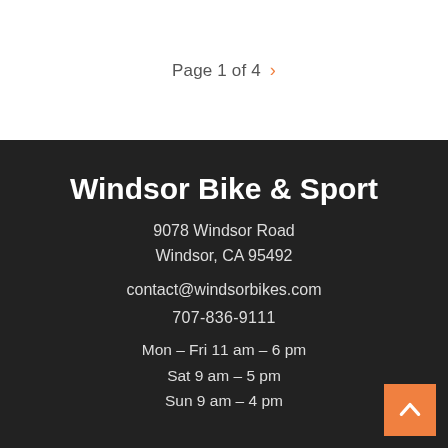Page 1 of 4 >
Windsor Bike & Sport
9078 Windsor Road
Windsor, CA 95492
contact@windsorbikes.com
707-836-9111
Mon – Fri 11 am – 6 pm
Sat 9 am – 5 pm
Sun 9 am – 4 pm